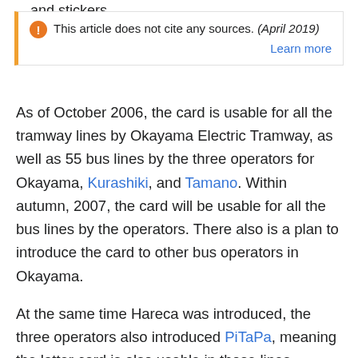and stickers.
This article does not cite any sources. (April 2019) Learn more
As of October 2006, the card is usable for all the tramway lines by Okayama Electric Tramway, as well as 55 bus lines by the three operators for Okayama, Kurashiki, and Tamano. Within autumn, 2007, the card will be usable for all the bus lines by the operators. There also is a plan to introduce the card to other bus operators in Okayama.
At the same time Hareca was introduced, the three operators also introduced PiTaPa, meaning the latter card is also usable in those lines. However, Hareca cannot be used in PiTaPa-accepting area, as the former has its unique function, such as premium service (discounts). As PiTaPa and ICOCA have integrated services, ICOCA is also usable in Hareca-accepting area. As of December 2006, however, ICOCA cannot be recharged in the area